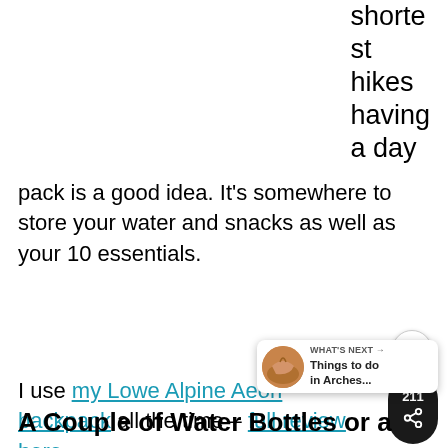shortest hikes having a day pack is a good idea. It's somewhere to store your water and snacks as well as your 10 essentials.
I use my Lowe Alpine Aeon backpack all the time – full review here.
A Couple of Water Bottles or a